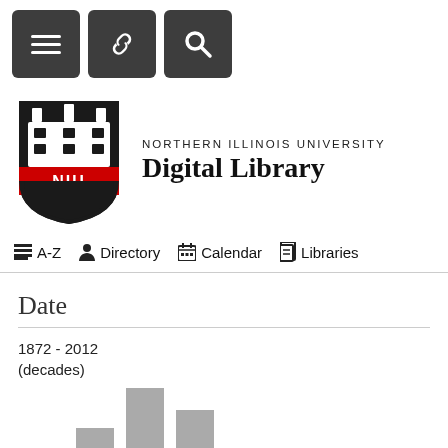[Figure (screenshot): NIU Digital Library website header with navigation buttons (hamburger menu, link/chain icon, search icon)]
[Figure (logo): Northern Illinois University shield logo with NIU text in red]
NORTHERN ILLINOIS UNIVERSITY Digital Library
A-Z  Directory  Calendar  Libraries
Date
1872 - 2012
(decades)
[Figure (bar-chart): Partial bar chart showing date distribution from 1872-2012 by decade. Bars visible at bottom of page with varying heights, tallest bar visible around third position.]